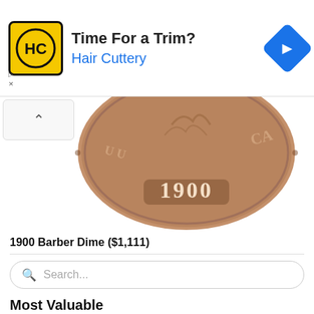[Figure (photo): Advertisement banner for Hair Cuttery. Yellow square logo with 'HC' text, headline 'Time For a Trim?', subheading 'Hair Cuttery' in blue, and a blue diamond navigation arrow icon on the right.]
[Figure (photo): Close-up photo of the bottom portion of a 1900 Barber Dime coin, showing the date '1900' on the coin face with copper/brown patina coloring.]
1900 Barber Dime ($1,111)
[Figure (other): Search bar with magnifying glass icon and placeholder text 'Search...']
Most Valuable
The most valuable Barber Dime's. Prices listed are for MS-65 certified. Visit the link to learn more about each coin.